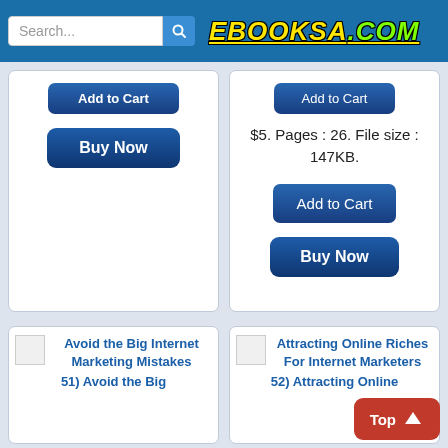EBOOKSA.COM — Search bar
$5. Pages : 26. File size : 147KB.
Add to Cart
Buy Now
Buy Now
Avoid the Big Internet Marketing Mistakes
51) Avoid the Big
Attracting Online Riches For Internet Marketers
52) Attracting Online